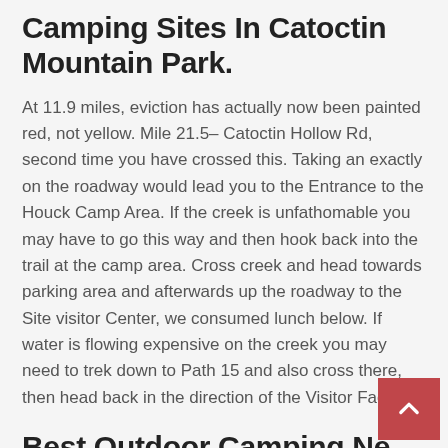Camping Sites In Catoctin Mountain Park.
At 11.9 miles, eviction has actually now been painted red, not yellow. Mile 21.5– Catoctin Hollow Rd, second time you have crossed this. Taking an exactly on the roadway would lead you to the Entrance to the Houck Camp Area. If the creek is unfathomable you may have to go this way and then hook back into the trail at the camp area. Cross creek and head towards parking area and afterwards up the roadway to the Site visitor Center, we consumed lunch below. If water is flowing expensive on the creek you may need to trek down to Path 15 and also cross there, then head back in the direction of the Visitor Facility.
Best Outdoor Camping Near Me.